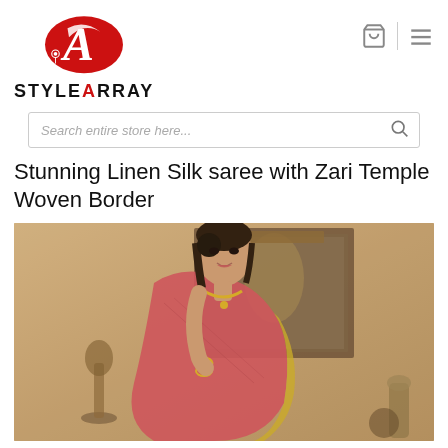STYLEARRAY
Stunning Linen Silk saree with Zari Temple Woven Border
[Figure (photo): A woman wearing a pink/coral linen silk saree with a Zari temple woven golden border, styled with gold jewellery, photographed indoors in front of a painting and decorative items.]